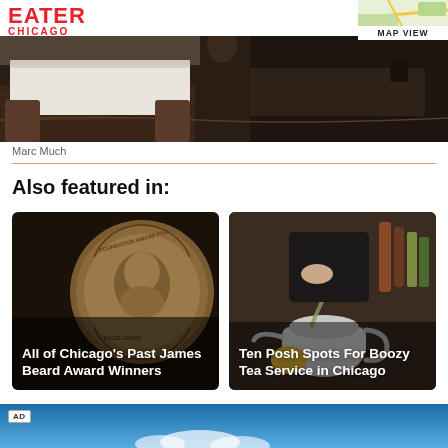EATER CHICAGO
[Figure (photo): Interior of a restaurant with white tablecloths, dark wood floors, and a server in background]
Marc Much
Also featured in:
[Figure (photo): James Beard Award medal — bronze medallion with a face engraved. Overlay text: All of Chicago's Past James Beard Award Winners]
[Figure (photo): A person pouring liquid from a jigger into a teapot, bar bottles in background. Overlay text: Ten Posh Spots For Boozy Tea Service in Chicago]
[Figure (photo): AD banner at bottom with blue sky background]